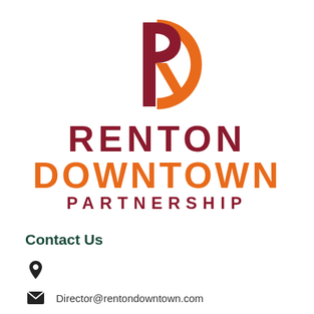[Figure (logo): Renton Downtown Partnership logo: stylized orange D shape with dark red P letterform on top, followed by text RENTON in dark red, DOWNTOWN in orange, PARTNERSHIP in dark red]
Contact Us
📍 (location pin icon)
✉ Director@rentondowntown.com
📱 (650) 466-8393
🌐 rentondowntown.com